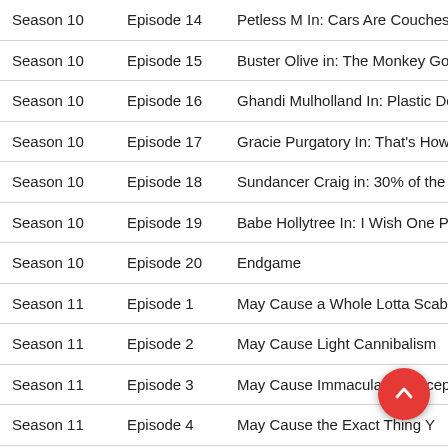| Season | Episode | Title |
| --- | --- | --- |
| Season 10 | Episode 14 | Petless M In: Cars Are Couches |
| Season 10 | Episode 15 | Buster Olive in: The Monkey Got |
| Season 10 | Episode 16 | Ghandi Mulholland In: Plastic Do |
| Season 10 | Episode 17 | Gracie Purgatory In: That's How |
| Season 10 | Episode 18 | Sundancer Craig in: 30% of the W |
| Season 10 | Episode 19 | Babe Hollytree In: I Wish One Pe |
| Season 10 | Episode 20 | Endgame |
| Season 11 | Episode 1 | May Cause a Whole Lotta Scab |
| Season 11 | Episode 2 | May Cause Light Cannibalism |
| Season 11 | Episode 3 | May Cause Immaculate Concep |
| Season 11 | Episode 4 | May Cause the Exact Thing Y |
| Season 11 | Episode 5 | May Cause One Year of Orang |